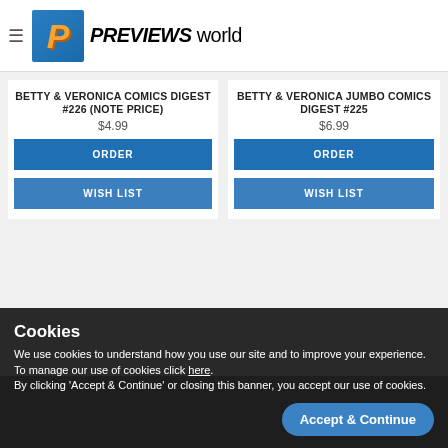PREVIEWS world
BETTY & VERONICA COMICS DIGEST #226 (NOTE PRICE)
$4.99
ORDER
WISH LIST
BETTY & VERONICA JUMBO COMICS DIGEST #225
$6.99
ORDER
WISH LIST
Cookies
We use cookies to understand how you use our site and to improve your experience. To manage our use of cookies click here.
By clicking 'Accept & Continue' or closing this banner, you accept our use of cookies.
Accept & Continue